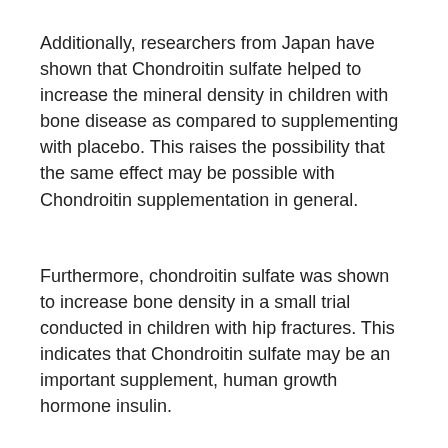Additionally, researchers from Japan have shown that Chondroitin sulfate helped to increase the mineral density in children with bone disease as compared to supplementing with placebo. This raises the possibility that the same effect may be possible with Chondroitin supplementation in general.
Furthermore, chondroitin sulfate was shown to increase bone density in a small trial conducted in children with hip fractures. This indicates that Chondroitin sulfate may be an important supplement, human growth hormone insulin.
Read the Chondroitin Sulfate Review from PhysioRoom.
4) Acupressure – The Health Benefits of Acupressure